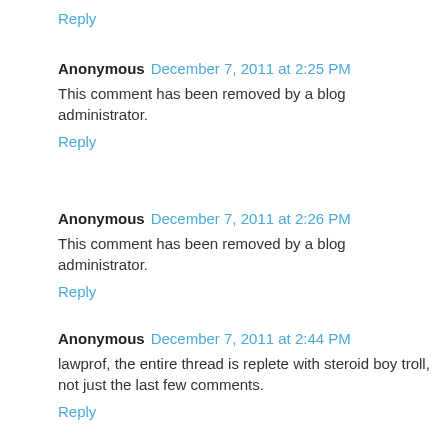Reply
Anonymous  December 7, 2011 at 2:25 PM
This comment has been removed by a blog administrator.
Reply
Anonymous  December 7, 2011 at 2:26 PM
This comment has been removed by a blog administrator.
Reply
Anonymous  December 7, 2011 at 2:44 PM
lawprof, the entire thread is replete with steroid boy troll, not just the last few comments.
Reply